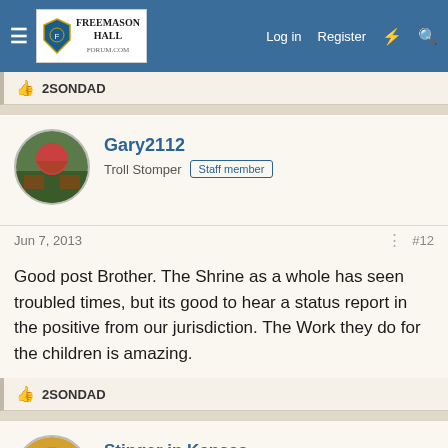Freemason Hall — Log in | Register
2SONDAD
Gary2112
Troll Stomper  Staff member
Jun 7, 2013  #12
Good post Brother. The Shrine as a whole has seen troubled times, but its good to hear a status report in the positive from our jurisdiction. The Work they do for the children is amazing.
2SONDAD
Stinger in Kansas
New Member
Aug 28, 2014  #13